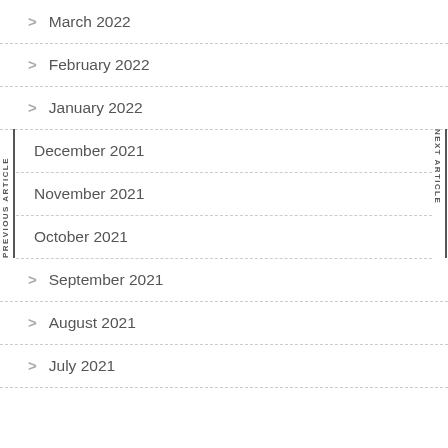March 2022
February 2022
January 2022
December 2021
November 2021
October 2021
September 2021
August 2021
July 2021